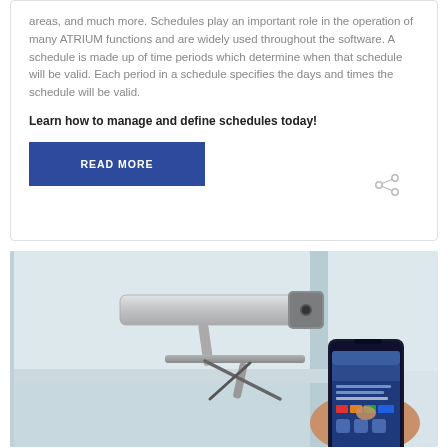areas, and much more. Schedules play an important role in the operation of many ATRIUM functions and are widely used throughout the software. A schedule is made up of time periods which determine when that schedule will be valid. Each period in a schedule specifies the days and times the schedule will be valid.
Learn how to manage and define schedules today!
[Figure (other): Blue 'READ MORE' button and a share icon]
[Figure (photo): Photo of a door closer hardware mechanism mounted on a wall with a hand holding a smartphone displaying the ATRIUM app interface]